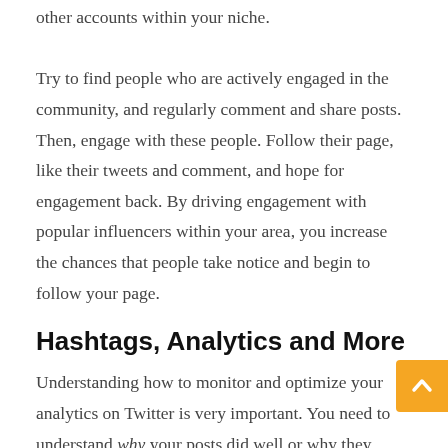other accounts within your niche. Try to find people who are actively engaged in the community, and regularly comment and share posts. Then, engage with these people. Follow their page, like their tweets and comment, and hope for engagement back. By driving engagement with popular influencers within your area, you increase the chances that people take notice and begin to follow your page.
Hashtags, Analytics and More
Understanding how to monitor and optimize your analytics on Twitter is very important. You need to understand why your posts did well or why they didn't. By constantly tracking your success, you can learn to share things with more success. This might even include optimizing and...}